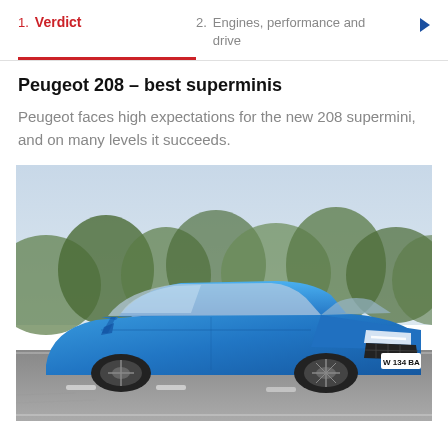1. Verdict  2. Engines, performance and drive
Peugeot 208 – best superminis
Peugeot faces high expectations for the new 208 supermini, and on many levels it succeeds.
[Figure (photo): Blue Peugeot 208 driving on a road with trees in background, licence plate W134BA]